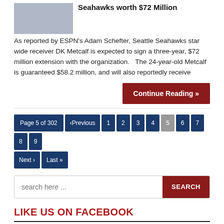Seahawks worth $72 Million
As reported by ESPN's Adam Schefter, Seattle Seahawks star wide receiver DK Metcalf is expected to sign a three-year, $72 million extension with the organization.   The 24-year-old Metcalf is guaranteed $58.2 million, and will also reportedly receive
Continue Reading »
Page 5 of 302 ‹Previous 1 2 3 4 5 6 7 8 9 Next › Last »
search here ...
LIKE US ON FACEBOOK